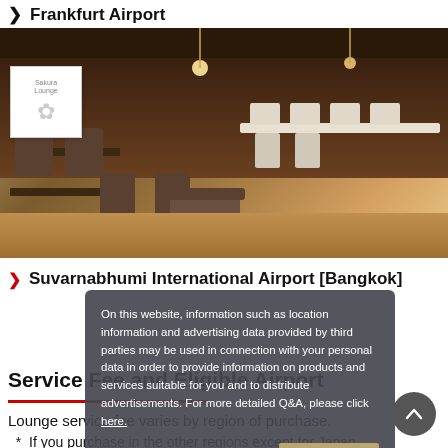Frankfurt Airport
[Figure (photo): Interior of an airport lounge with dark wooden tables, upholstered chairs, and warm lighting. A 'Sakura Lounge' logo is visible in the top-left corner.]
Suvarnabhumi International Airport [Bangkok]
On this website, information such as location information and advertising data provided by third parties may be used in connection with your personal data in order to provide information on products and services suitable for you and to distribute advertisements. For more detailed Q&A, please click here.
Service Fee and Eligible Airport
Lounge service fee varies by region of purchase.
* If you purchase in the other regions except for Japan